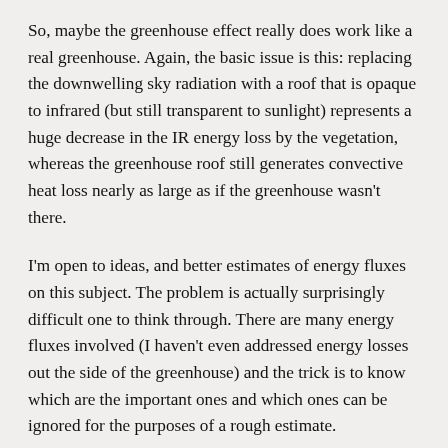So, maybe the greenhouse effect really does work like a real greenhouse. Again, the basic issue is this: replacing the downwelling sky radiation with a roof that is opaque to infrared (but still transparent to sunlight) represents a huge decrease in the IR energy loss by the vegetation, whereas the greenhouse roof still generates convective heat loss nearly as large as if the greenhouse wasn't there.
I'm open to ideas, and better estimates of energy fluxes on this subject. The problem is actually surprisingly difficult one to think through. There are many energy fluxes involved (I haven't even addressed energy losses out the side of the greenhouse) and the trick is to know which are the important ones and which ones can be ignored for the purposes of a rough estimate.